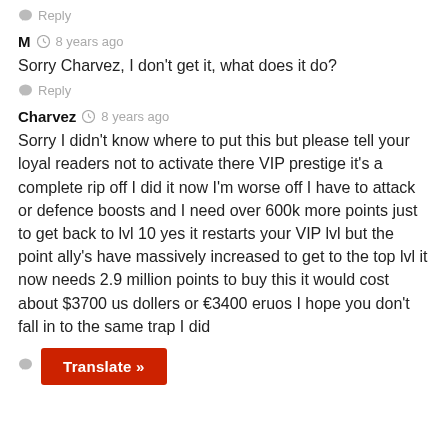Reply
M  8 years ago
Sorry Charvez, I don't get it, what does it do?
Reply
Charvez  8 years ago
Sorry I didn't know where to put this but please tell your loyal readers not to activate there VIP prestige it's a complete rip off I did it now I'm worse off I have to attack or defence boosts and I need over 600k more points just to get back to lvl 10 yes it restarts your VIP lvl but the point ally's have massively increased to get to the top lvl it now needs 2.9 million points to buy this it would cost about $3700 us dollers or €3400 eruos I hope you don't fall in to the same trap I did
Translate »